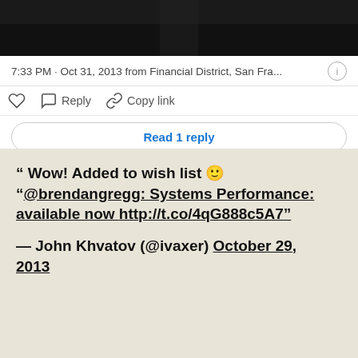[Figure (photo): Dark photo at top of tweet card, mostly black]
7:33 PM · Oct 31, 2013 from Financial District, San Fra...
Reply  Copy link
Read 1 reply
" Wow! Added to wish list 🙂 "@brendangregg: Systems Performance: available now http://t.co/4qG888c5A7"
— John Khvatov (@ivaxer) October 29, 2013